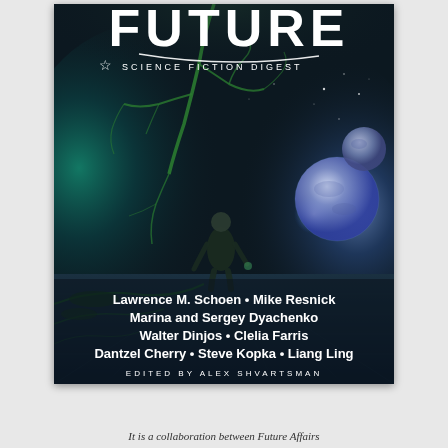[Figure (illustration): Cover of Future Science Fiction Digest magazine. A science fiction scene featuring a bald human figure standing on a dark platform, facing a vast cosmic scene with a glowing green-teal energy wave on the left, a large blue-white planet or moon on the right, and intricate vine-like organic structures hanging from above. The title 'FUTURE' appears in large white letters at the top, with 'SCIENCE FICTION DIGEST' in smaller letters below. Author names listed at the bottom: Lawrence M. Schoen, Mike Resnick, Marina and Sergey Dyachenko, Walter Dinjos, Clelia Farris, Dantzel Cherry, Steve Kopka, Liang Ling. Edited by Alex Shvartsman.]
It is a collaboration between Future Affairs